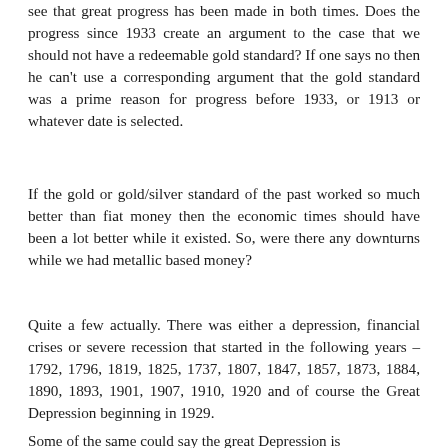see that great progress has been made in both times. Does the progress since 1933 create an argument to the case that we should not have a redeemable gold standard? If one says no then he can't use a corresponding argument that the gold standard was a prime reason for progress before 1933, or 1913 or whatever date is selected.
If the gold or gold/silver standard of the past worked so much better than fiat money then the economic times should have been a lot better while it existed. So, were there any downturns while we had metallic based money?
Quite a few actually. There was either a depression, financial crises or severe recession that started in the following years – 1792, 1796, 1819, 1825, 1737, 1807, 1847, 1857, 1873, 1884, 1890, 1893, 1901, 1907, 1910, 1920 and of course the Great Depression beginning in 1929.
Some of the same could say the great Depression is...